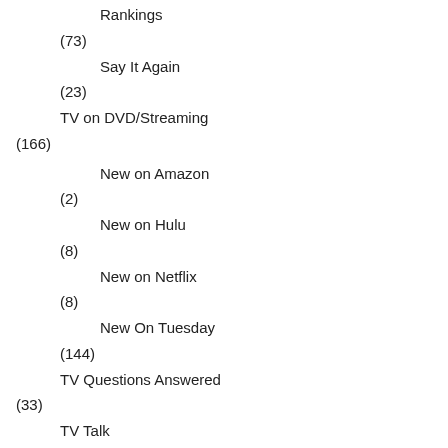Rankings
(73)
Say It Again
(23)
TV on DVD/Streaming
(166)
New on Amazon
(2)
New on Hulu
(8)
New on Netflix
(8)
New On Tuesday
(144)
TV Questions Answered
(33)
TV Talk